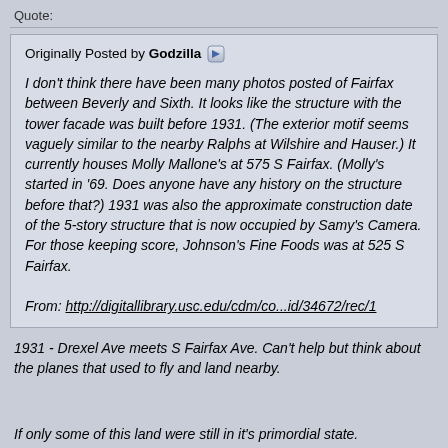Quote:
Originally Posted by Godzilla
I don't think there have been many photos posted of Fairfax between Beverly and Sixth. It looks like the structure with the tower facade was built before 1931. (The exterior motif seems vaguely similar to the nearby Ralphs at Wilshire and Hauser.) It currently houses Molly Mallone's at 575 S Fairfax. (Molly's started in '69. Does anyone have any history on the structure before that?) 1931 was also the approximate construction date of the 5-story structure that is now occupied by Samy's Camera. For those keeping score, Johnson's Fine Foods was at 525 S Fairfax.

From: http://digitallibrary.usc.edu/cdm/co...id/34672/rec/1
1931 - Drexel Ave meets S Fairfax Ave. Can't help but think about the planes that used to fly and land nearby.
If only some of this land were still in it's primordial state.